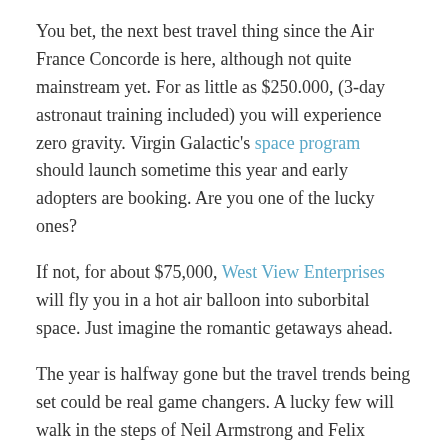You bet, the next best travel thing since the Air France Concorde is here, although not quite mainstream yet. For as little as $250.000, (3-day astronaut training included) you will experience zero gravity. Virgin Galactic's space program should launch sometime this year and early adopters are booking. Are you one of the lucky ones?
If not, for about $75,000, West View Enterprises will fly you in a hot air balloon into suborbital space. Just imagine the romantic getaways ahead.
The year is halfway gone but the travel trends being set could be real game changers. A lucky few will walk in the steps of Neil Armstrong and Felix Baumgartner.
For the rest of us, the increasing travel assistance capabilities of our smartphones will be the most exciting travel trend of the year. Thoughts?